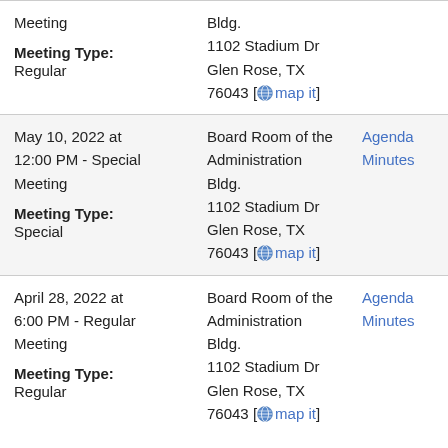| Date/Type | Location | Links |
| --- | --- | --- |
| Meeting

Meeting Type:
Regular | Board Room of the Administration Bldg.
1102 Stadium Dr
Glen Rose, TX
76043 [map it] |  |
| May 10, 2022 at 12:00 PM - Special Meeting

Meeting Type:
Special | Board Room of the Administration Bldg.
1102 Stadium Dr
Glen Rose, TX
76043 [map it] | Agenda
Minutes |
| April 28, 2022 at 6:00 PM - Regular Meeting

Meeting Type:
Regular | Board Room of the Administration Bldg.
1102 Stadium Dr
Glen Rose, TX
76043 [map it] | Agenda
Minutes |